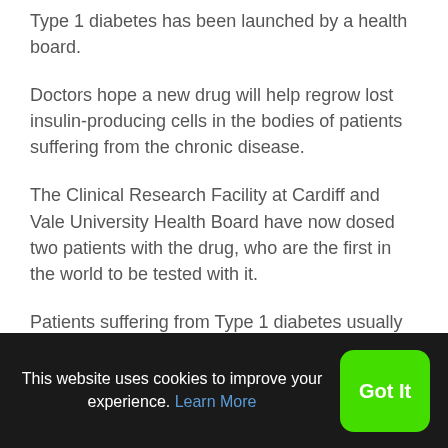Type 1 diabetes has been launched by a health board.
Doctors hope a new drug will help regrow lost insulin-producing cells in the bodies of patients suffering from the chronic disease.
The Clinical Research Facility at Cardiff and Vale University Health Board have now dosed two patients with the drug, who are the first in the world to be tested with it.
Patients suffering from Type 1 diabetes usually treat the lifelong condition with insulin
This website uses cookies to improve your experience. Learn More  Got It